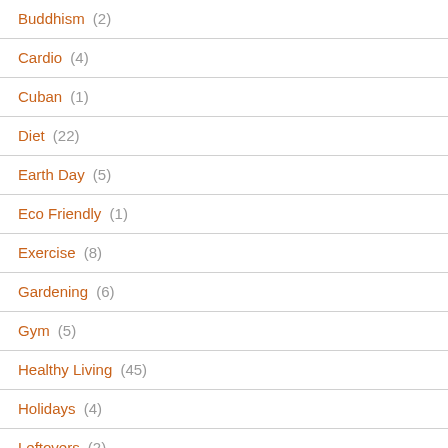Buddhism (2)
Cardio (4)
Cuban (1)
Diet (22)
Earth Day (5)
Eco Friendly (1)
Exercise (8)
Gardening (6)
Gym (5)
Healthy Living (45)
Holidays (4)
Leftovers (2)